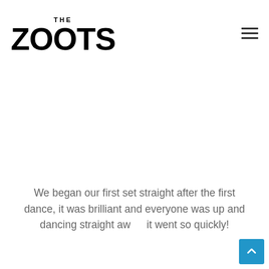THE ZOOTS
[Figure (logo): The Zoots band logo — 'THE' in small caps above 'ZOOTS' in large bold black lettering]
We began our first set straight after the first dance, it was brilliant and everyone was up and dancing straight away, it went so quickly!